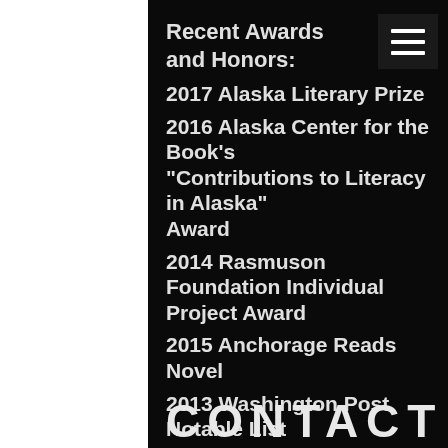Recent Awards and Honors:
2017 Alaska Literary Prize
2016 Alaska Center for the Book's "Contributions to Literacy in Alaska" Award
2014 Rasmuson Foundation Individual Project Award
2015 Anchorage Reads Novel
2013 Washington Post Notable List
CONTACT